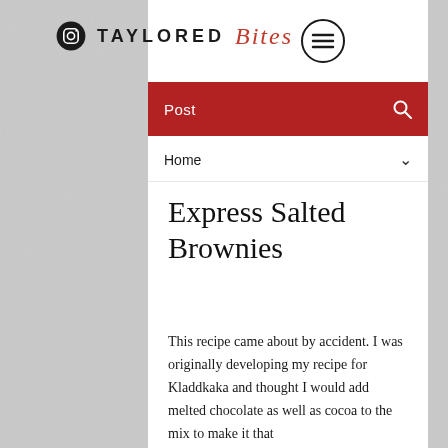TAYLORED BITES
Post
Home
Express Salted Brownies
This recipe came about by accident. I was originally developing my recipe for Kladdkaka and thought I would add melted chocolate as well as cocoa to the mix to make it that